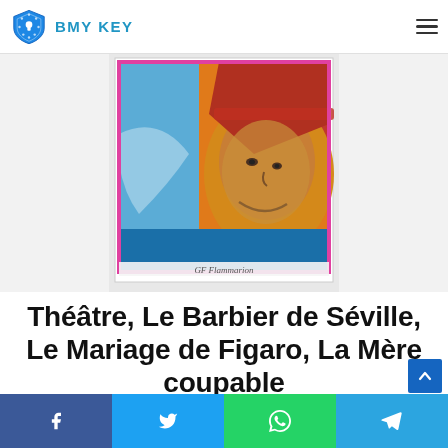BMY KEY
[Figure (illustration): Book cover for Théâtre by Beaumarchais published by GF Flammarion, showing a colorful pop-art style portrait of a person wearing a hat with blue, orange, red and gold color blocks.]
Théâtre, Le Barbier de Séville, Le Mariage de Figaro, La Mère coupable